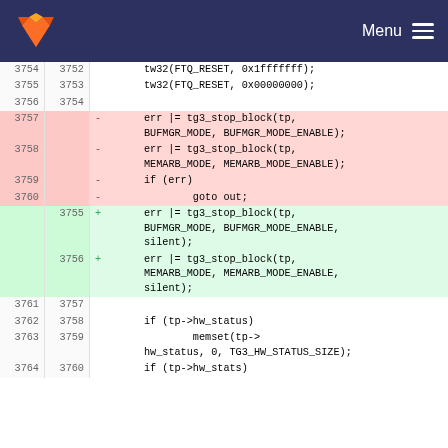Menu
| old_ln | new_ln | code |
| --- | --- | --- |
| 3754 | 3752 |         tw32(FTQ_RESET, 0x1fffffff); |
| 3755 | 3753 |         tw32(FTQ_RESET, 0x00000000); |
| 3756 | 3754 |  |
| 3757 |  | -       err |= tg3_stop_block(tp,
				BUFMGR_MODE, BUFMGR_MODE_ENABLE); |
| 3758 |  | -       err |= tg3_stop_block(tp,
				MEMARB_MODE, MEMARB_MODE_ENABLE); |
| 3759 |  | -       if (err) |
| 3760 |  | -               goto out; |
|  | 3755 | +       err |= tg3_stop_block(tp,
				BUFMGR_MODE, BUFMGR_MODE_ENABLE,
				silent); |
|  | 3756 | +       err |= tg3_stop_block(tp,
				MEMARB_MODE, MEMARB_MODE_ENABLE,
				silent); |
| 3761 | 3757 |  |
| 3762 | 3758 |         if (tp->hw_status) |
| 3763 | 3759 |                 memset(tp->
				hw_status, 0, TG3_HW_STATUS_SIZE); |
| 3764 | 3760 |         if (tp->hw_stats) |